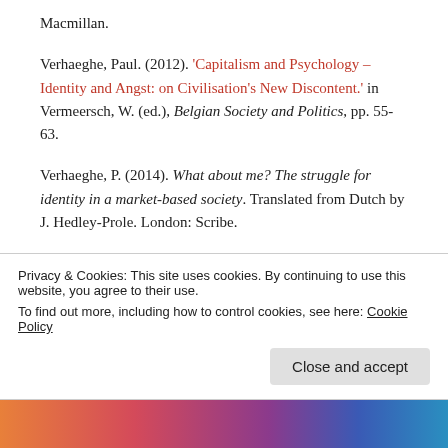Macmillan.
Verhaeghe, Paul. (2012). 'Capitalism and Psychology – Identity and Angst: on Civilisation's New Discontent.' in Vermeersch, W. (ed.), Belgian Society and Politics, pp. 55-63.
Verhaeghe, P. (2014). What about me? The struggle for identity in a market-based society. Translated from Dutch by J. Hedley-Prole. London: Scribe.
Sponsored Content
Privacy & Cookies: This site uses cookies. By continuing to use this website, you agree to their use.
To find out more, including how to control cookies, see here: Cookie Policy
Close and accept